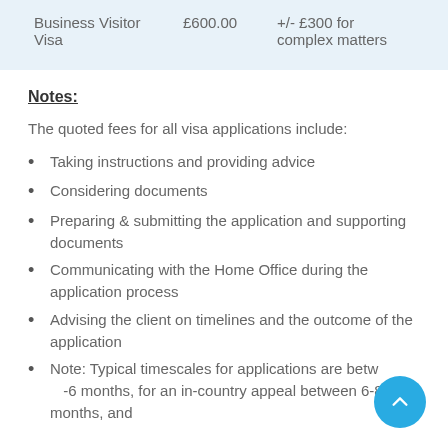|  |  |  |
| --- | --- | --- |
| Business Visitor Visa | £600.00 | +/- £300 for complex matters |
Notes:
The quoted fees for all visa applications include:
Taking instructions and providing advice
Considering documents
Preparing & submitting the application and supporting documents
Communicating with the Home Office during the application process
Advising the client on timelines and the outcome of the application
Note: Typical timescales for applications are betw...-6 months, for an in-country appeal between 6-8 months, and